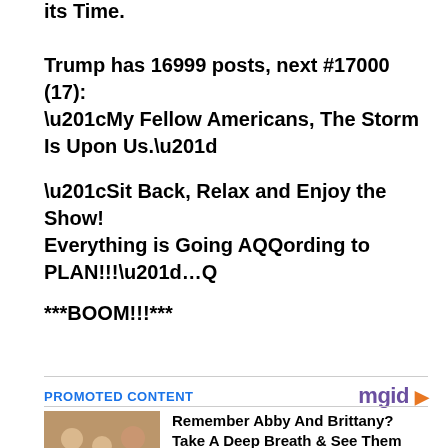its Time.
Trump has 16999 posts, next #17000 (17): “My Fellow Americans, The Storm Is Upon Us.”
“Sit Back, Relax and Enjoy the Show! Everything is Going AQQording to PLAN!!!”…Q
***BOOM!!!***
PROMOTED CONTENT
[Figure (photo): Photo of three people smiling at an outdoor event]
Remember Abby And Brittany? Take A Deep Breath & See Them Now
Traitslab